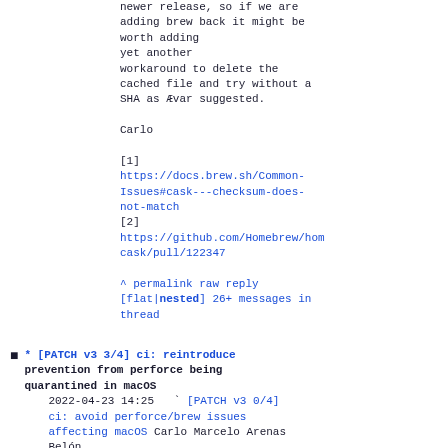newer release, so if we are
adding brew back it might be
worth adding
yet another
workaround to delete the
cached file and try without a
SHA as Ævar suggested.

Carlo
[1]
https://docs.brew.sh/Common-Issues#cask---checksum-does-not-match
[2]
https://github.com/Homebrew/homebrew-cask/pull/122347
^ permalink raw reply [flat|nested] 26+ messages in thread
* [PATCH v3 3/4] ci: reintroduce prevention from perforce being quarantined in macOS
2022-04-23 14:25  ` [PATCH v3 0/4] ci: avoid perforce/brew issues affecting macOS Carlo Marcelo Arenas Belón
2022-04-23 14:25  ` [PATCH v3 1/4] ci: make failure to find perforce more...